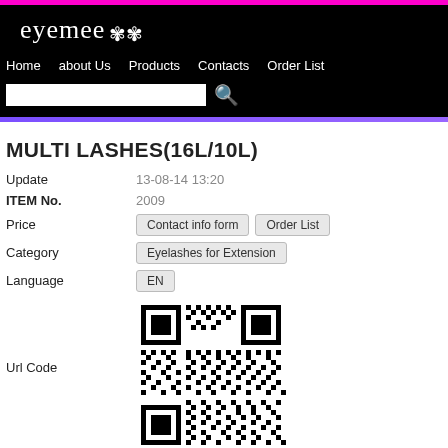eyemee
Home  about Us  Products  Contacts  Order List
MULTI LASHES(16L/10L)
Update: 13-08-14 13:20
ITEM No.: 2009
Price: Contact info form  Order List
Category: Eyelashes for Extension
Language: EN
[Figure (other): QR code for Url Code]